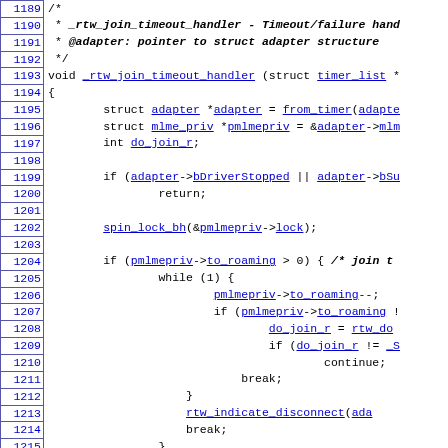[Figure (screenshot): Source code viewer showing C function _rtw_join_timeout_handler with line numbers 1189-1218, monospace font, hyperlinked identifiers in blue underline]